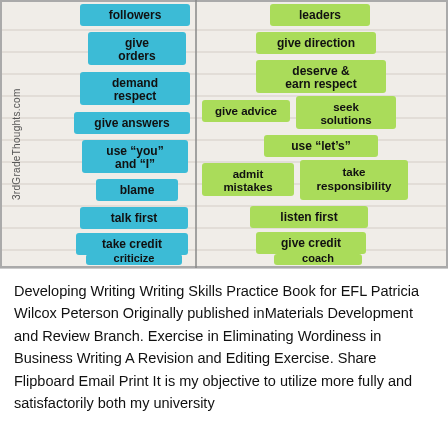[Figure (infographic): Photo of a classroom display comparing 'followers' (cyan sticky notes) vs 'leaders' (green sticky notes). Left column (cyan): followers, give orders, demand respect, give answers, use 'you' and 'I', blame, talk first, take credit, criticize. Right column (green): leaders, give direction, deserve & earn respect, give advice, seek solutions, use 'let's', admit mistakes, take responsibility, listen first, give credit, coach. Watermark: 3rdGradeThoughts.com]
Developing Writing Writing Skills Practice Book for EFL Patricia Wilcox Peterson Originally published inMaterials Development and Review Branch. Exercise in Eliminating Wordiness in Business Writing A Revision and Editing Exercise. Share Flipboard Email Print It is my objective to utilize more fully and satisfactorily both my university